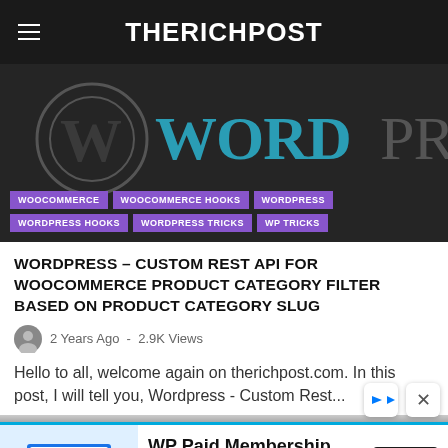THERICHPOST
[Figure (logo): WordPress logo on dark background with WordPress text in teal/dark style]
WORDPRESS – CUSTOM REST API FOR WOOCOMMERCE PRODUCT CATEGORY FILTER BASED ON PRODUCT CATEGORY SLUG
2 Years Ago - 2.9K Views
Hello to all, welcome again on therichpost.com. In this post, I will tell you, Wordpress - Custom Rest...
[Figure (infographic): WP Paid Membership Plugin advertisement banner with shopping cart illustration, Open button, ProfilePress brand label, and navigation arrows]